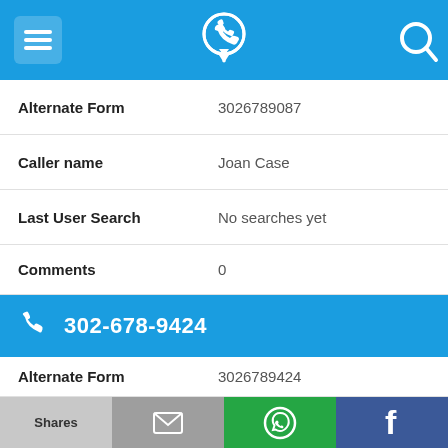[Figure (screenshot): Mobile app top navigation bar with hamburger menu icon, phone/location pin icon in center, and search icon on right, all on blue background]
Alternate Form	3026789087
Caller name	Joan Case
Last User Search	No searches yet
Comments	0
302-678-9424
Alternate Form	3026789424
Caller name	Robert Cox
[Figure (screenshot): Bottom share bar with four buttons: Shares (light gray), email icon (dark gray), WhatsApp icon (green), Facebook icon (dark blue)]